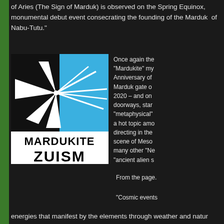of Aries (The Sign of Marduk) is observed on the Spring Equinox, monumental debut event consecrating the founding of the Marduk of Nabu-Tutu."
[Figure (logo): Mardukite Zuism logo: split black and blue square with white starburst/asterisk design, text MARDUKITE ZUISM in bold black letters below]
Once again the "Mardukite" my Anniversary of Marduk gate o 2020 – and on doorways, star "metaphysical" a hot topic amo directing in the scene of Meso many other "Ne "ancient alien s
From the page.
"Cosmic events energies that manifest by the elements through weather and natur